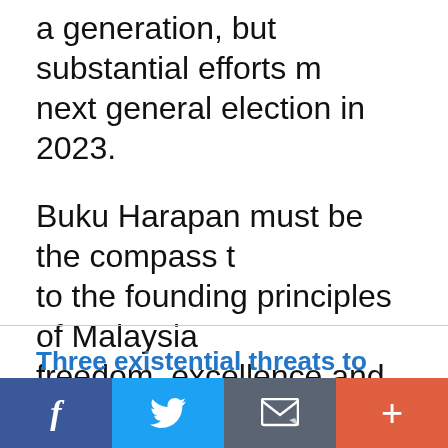a generation, but substantial efforts must be made before the next general election in 2023.
Buku Harapan must be the compass that brings us back to the founding principles of Malaysia — justice, freedom, excellence and integrity in M…
Three existential threats to mankind – Internet information warfare